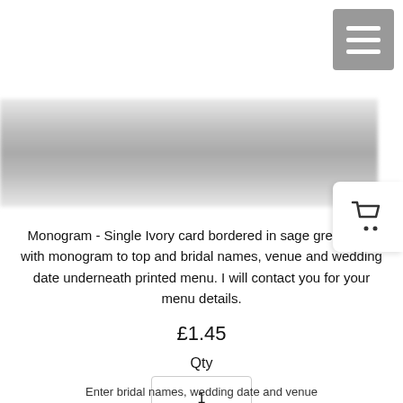[Figure (other): Hamburger navigation menu button, grey square with three white horizontal lines]
[Figure (other): Blurred product image placeholder, grey gradient banner]
[Figure (other): Shopping cart icon in white rounded box overlay on right edge]
Monogram - Single Ivory card bordered in sage green with with monogram to top and bridal names, venue and wedding date underneath printed menu. I will contact you for your menu details.
£1.45
Qty
1
Enter bridal names, wedding date and venue